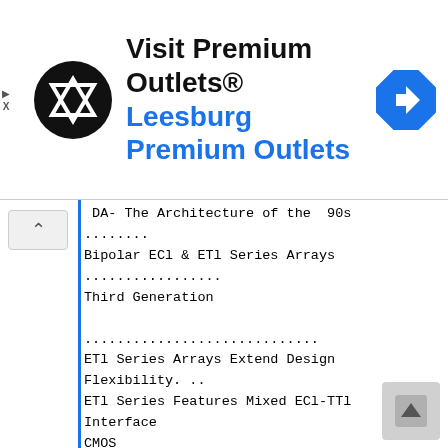[Figure (other): Advertisement banner for Visit Premium Outlets® - Leesburg Premium Outlets with circular logo and navigation icon]
DA- The Architecture of the 90s ........
Bipolar ECl & ETl Series Arrays ................. Third Generation ............................. ETl Series Arrays Extend Design Flexibility. .. ETl Series Features Mixed ECl-TTl Interface CMOS .......................................... 1.0 Micron CMOS HDCTM Series .............. Triple-layer Metal ........................... Sub-Micron CMOS H4CTM Series ........ .